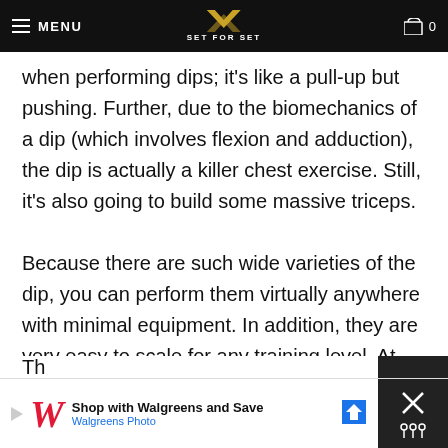MENU | SET FOR SET | 0
when performing dips; it's like a pull-up but pushing. Further, due to the biomechanics of a dip (which involves flexion and adduction), the dip is actually a killer chest exercise. Still, it's also going to build some massive triceps.
Because there are such wide varieties of the dip, you can perform them virtually anywhere with minimal equipment. In addition, they are very easy to scale for any training level. At the end of the day, dips are one of our favorite exercises, pushing or not.
Th
[Figure (screenshot): Walgreens advertisement banner: Shop with Walgreens and Save - Walgreens Photo, with close button]